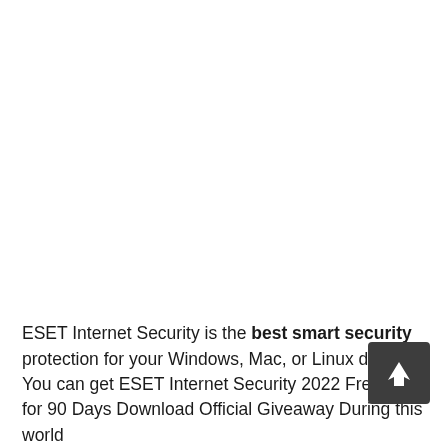ESET Internet Security is the best smart security protection for your Windows, Mac, or Linux devices. You can get ESET Internet Security 2022 Free Trial for 90 Days Download Official Giveaway During this world
[Figure (other): Back-to-top arrow button: dark grey rounded rectangle with a white upward-pointing arrow/cursor icon]